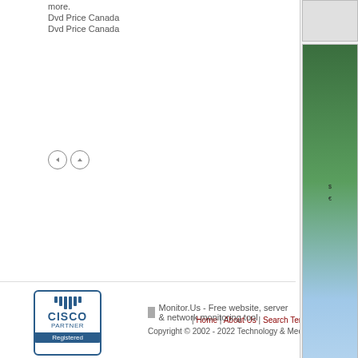more.
Dvd Price Canada
Dvd Price Canada
[Figure (other): Navigation back and up arrow circle buttons]
[Figure (other): Right panel top box - partially visible image/ad]
[Figure (other): Right panel middle box - green and blue toned image, partially visible]
[Figure (other): Right panel bottom box - partially visible image/ad]
| Home | About Us | Search Terms | Client List | Online Duplication
[Figure (logo): Cisco Partner Registered logo badge]
Monitor.Us - Free website, server & network monitoring tool
Copyright © 2002 - 2022 Technology & Media Works,